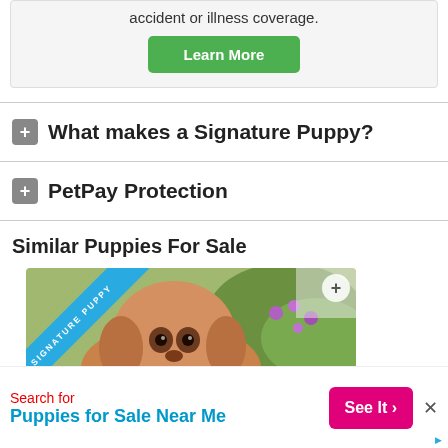accident or illness coverage.
Learn More
What makes a Signature Puppy?
PetPay Protection
Similar Puppies For Sale
[Figure (photo): Golden/brown puppy with a 'Signature Puppy' ribbon overlay, sitting in front of flowers]
Search for Puppies for Sale Near Me
See It >